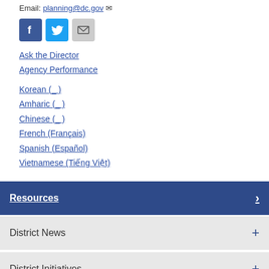Email: planning@dc.gov
[Figure (other): Social media icons: Facebook (blue), Twitter (light blue), Mail (grey)]
Ask the Director
Agency Performance
Korean (_ )
Amharic (_ )
Chinese (_ )
French (Français)
Spanish (Español)
Vietnamese (Tiếng Việt)
Resources
District News
District Initiatives